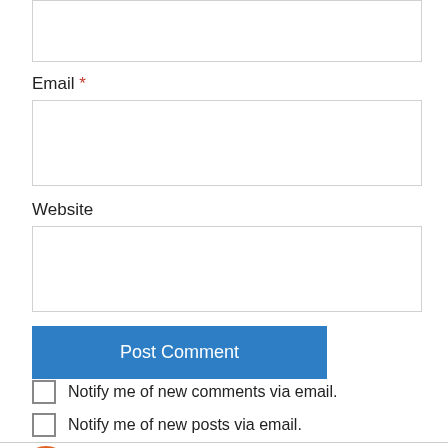[Figure (screenshot): Partial text input field at the top of the page (comment form, top portion cut off)]
Email *
[Figure (screenshot): Email input field (empty text box)]
Website
[Figure (screenshot): Website input field (empty text box)]
Post Comment
Notify me of new comments via email.
Notify me of new posts via email.
Bob Bois on June 22, 2012 at 10:02 pm